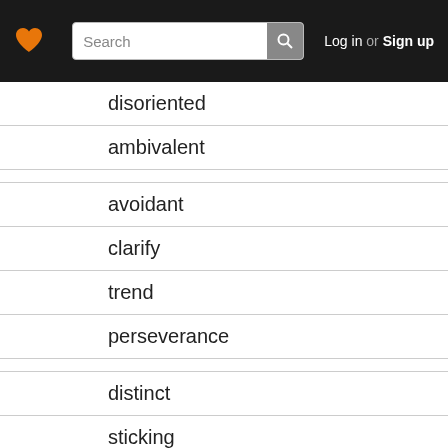Search | Log in or Sign up
disoriented
ambivalent
avoidant
clarify
trend
perseverance
distinct
sticking
attribute
About